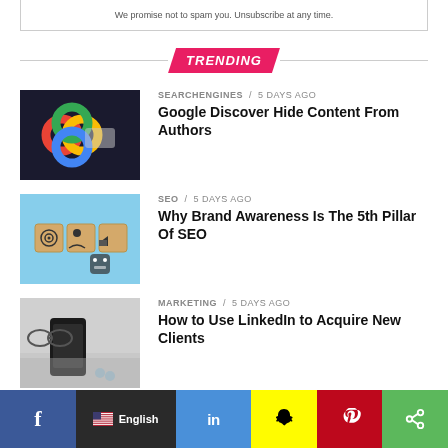We promise not to spam you. Unsubscribe at any time.
TRENDING
[Figure (photo): Hands holding Google logo colorful circles]
SEARCHENGINES / 5 days ago
Google Discover Hide Content From Authors
[Figure (photo): Wooden blocks with SEO and megaphone icons on blue background]
SEO / 5 days ago
Why Brand Awareness Is The 5th Pillar Of SEO
[Figure (photo): Smartphone on desk with earbuds]
MARKETING / 5 days ago
How to Use LinkedIn to Acquire New Clients
[Figure (photo): Blue toned marketing image]
MARKETING / 5 days ago
f English in [Snapchat] [Pinterest] [Share]